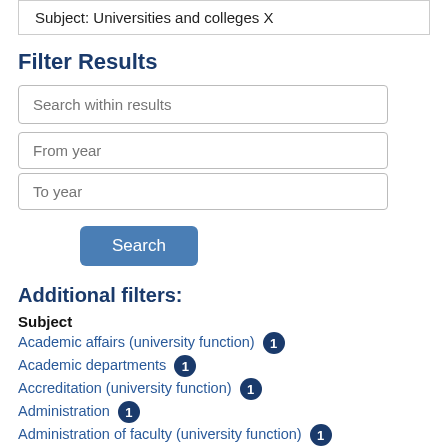Subject: administrative records X
Subject: Universities and colleges X
Filter Results
Search within results
From year
To year
Search
Additional filters:
Subject
Academic affairs (university function) 1
Academic departments 1
Accreditation (university function) 1
Administration 1
Administration of faculty (university function) 1